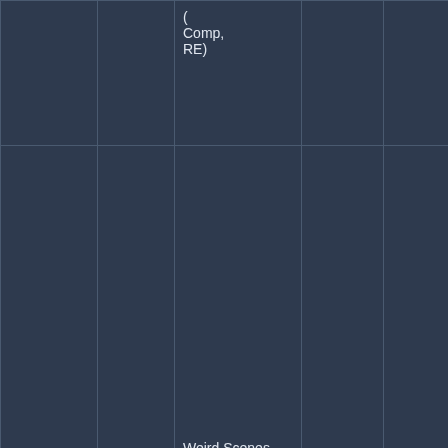|  |  |  |  |  |  |  |
| --- | --- | --- | --- | --- | --- | --- |
|  |  | (Comp, RE) |  |  |  | 19 |
| EST 6001-F-DP | The Doors | Weird Scenes Inside The Gold Mine (Reel, 4tr Stereo, 7" Reel, Comp, Dou) | Elektra | EST 6001-F-DP | US | 19 |
Related The Doors - Weird Scenes Inside The Gold Mine music albums: